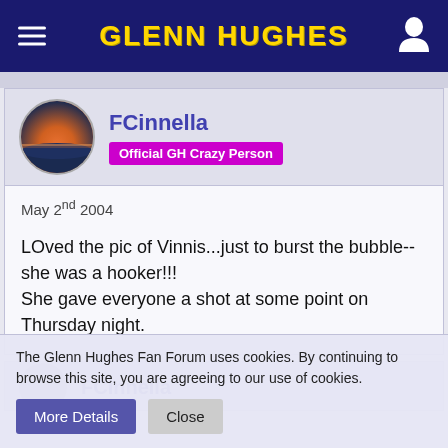GLENN HUGHES
FCinnella
Official GH Crazy Person
May 2nd 2004

LOved the pic of Vinnis...just to burst the bubble--she was a hooker!!!
She gave everyone a shot at some point on Thursday night.
FCinnella
The Glenn Hughes Fan Forum uses cookies. By continuing to browse this site, you are agreeing to our use of cookies.